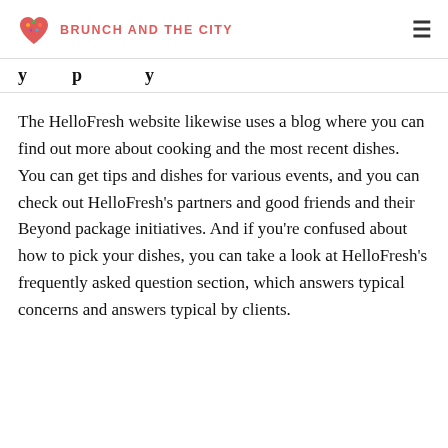BRUNCH AND THE CITY
you … p … y
The HelloFresh website likewise uses a blog where you can find out more about cooking and the most recent dishes. You can get tips and dishes for various events, and you can check out HelloFresh's partners and good friends and their Beyond package initiatives. And if you're confused about how to pick your dishes, you can take a look at HelloFresh's frequently asked question section, which answers typical concerns and answers typical by clients.